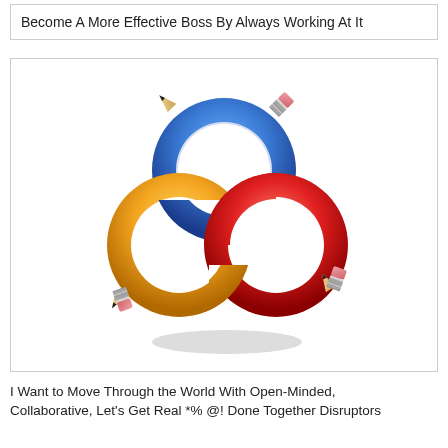Become A More Effective Boss By Always Working At It
[Figure (illustration): Three interlocked pencil rings (blue, orange, red) forming a Borromean-rings-style knot, symbolizing collaboration or teamwork.]
I Want to Move Through the World With Open-Minded, Collaborative, Let's Get Real *% @! Done Together Disruptors